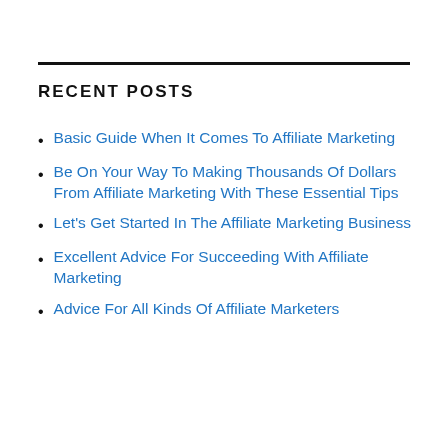RECENT POSTS
Basic Guide When It Comes To Affiliate Marketing
Be On Your Way To Making Thousands Of Dollars From Affiliate Marketing With These Essential Tips
Let's Get Started In The Affiliate Marketing Business
Excellent Advice For Succeeding With Affiliate Marketing
Advice For All Kinds Of Affiliate Marketers